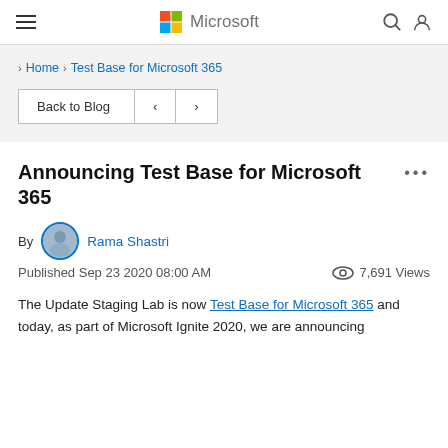Microsoft
> Home > Test Base for Microsoft 365
Back to Blog < >
Announcing Test Base for Microsoft 365
By Rama Shastri
Published Sep 23 2020 08:00 AM   7,691 Views
The Update Staging Lab is now Test Base for Microsoft 365 and today, as part of Microsoft Ignite 2020, we are announcing